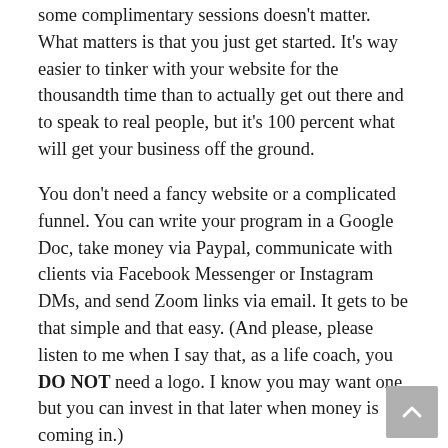some complimentary sessions doesn't matter. What matters is that you just get started. It's way easier to tinker with your website for the thousandth time than to actually get out there and to speak to real people, but it's 100 percent what will get your business off the ground.
You don't need a fancy website or a complicated funnel. You can write your program in a Google Doc, take money via Paypal, communicate with clients via Facebook Messenger or Instagram DMs, and send Zoom links via email. It gets to be that simple and that easy. (And please, please listen to me when I say that, as a life coach, you DO NOT need a logo. I know you may want one, but you can invest in that later when money is coming in.)